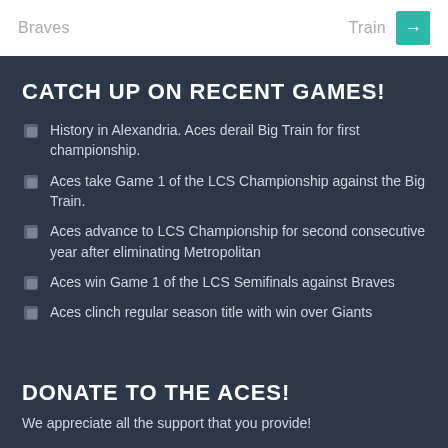Braves | Train →
CATCH UP ON RECENT GAMES!
History in Alexandria. Aces derail Big Train for first championship.
Aces take Game 1 of the LCS Championship against the Big Train.
Aces advance to LCS Championship for second consecutive year after eliminating Metropolitan
Aces win Game 1 of the LCS Semifinals against Braves
Aces clinch regular season title with win over Giants
DONATE TO THE ACES!
We appreciate all the support that you provide!